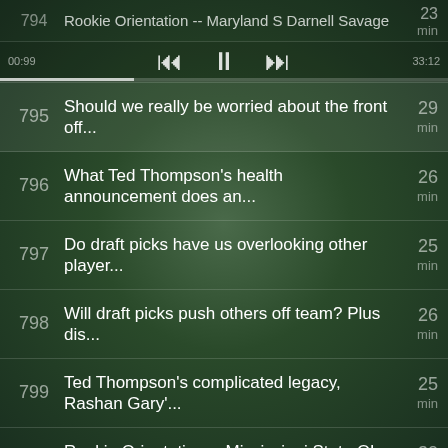794 Rookie Orientation -- Maryland S Darnell Savage 23 min
795 Should we really be worried about the front off... 29 min 33:12
796 What Ted Thompson's health announcement does an... 26 min
797 Do draft picks have us overlooking other player... 25 min
798 Will draft picks push others off team? Plus dis... 26 min
799 Ted Thompson's complicated legacy, Rashan Gary'... 25 min
800 Rookie Orientation -- Mississippi State OL Elgt... 30 min
« First ‹ Prev … 4 5 6 7 8 9 10 11 12 … Next › Last »